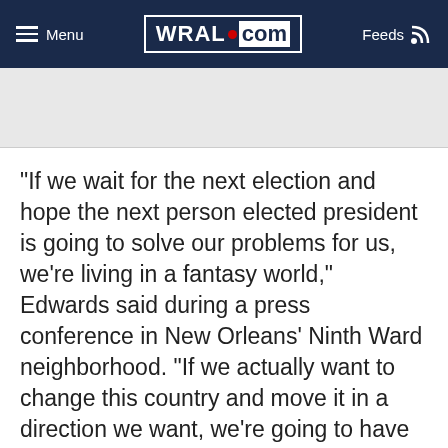Menu | WRAL.com | Feeds
[Figure (other): Light gray advertisement/banner placeholder area]
"If we wait for the next election and hope the next person elected president is going to solve our problems for us, we're living in a fantasy world," Edwards said during a press conference in New Orleans' Ninth Ward neighborhood. "If we actually want to change this country and move it in a direction we want, we're going to have to do it together."